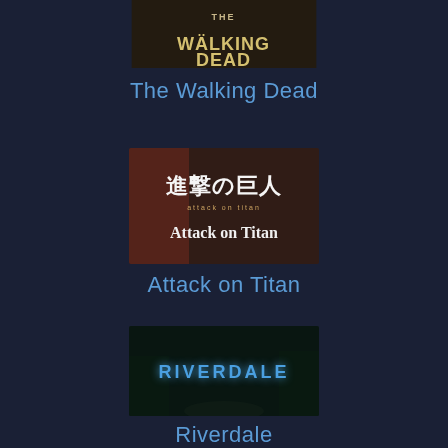[Figure (illustration): The Walking Dead TV show promotional image/logo showing dark gritty text on muted background]
The Walking Dead
[Figure (illustration): Attack on Titan promotional image showing Japanese characters 進撃の巨人 and English text 'Attack on Titan' with dark dramatic background]
Attack on Titan
[Figure (illustration): Riverdale TV show promotional image showing glowing blue neon 'RIVERDALE' text against dark forest background]
Riverdale